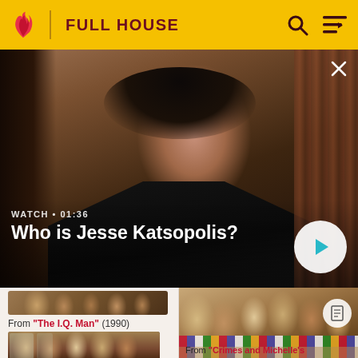FULL HOUSE
[Figure (screenshot): Video still showing a dark-haired man in a black jacket. Overlay reads WATCH • 01:36 and title Who is Jesse Katsopolis? with a play button.]
Who is Jesse Katsopolis?
From "The I.Q. Man" (1990)
[Figure (screenshot): Thumbnail of group of people standing indoors, appears to be a Full House scene.]
[Figure (screenshot): Thumbnail of group of people sitting around a table with a colorful quilt/tablecloth.]
From "Crimes and Michelle's